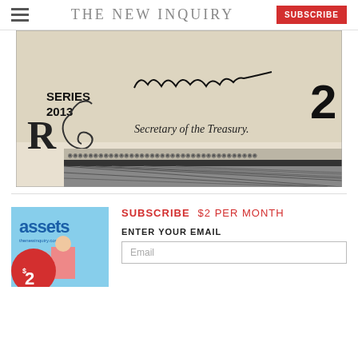THE NEW INQUIRY
[Figure (photo): Close-up of a US dollar bill showing 'SERIES 2013', a handwritten signature, 'Secretary of the Treasury.' text, decorative engravings and the numeral 2]
[Figure (illustration): Magazine cover for 'assets' by The New Inquiry, featuring a red circle with '$2' and a person in pink in the background]
SUBSCRIBE $2 PER MONTH
ENTER YOUR EMAIL
Email